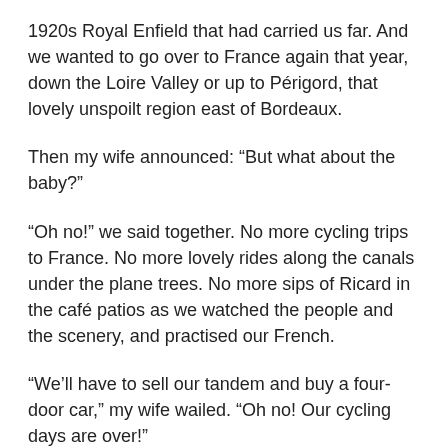1920s Royal Enfield that had carried us far. And we wanted to go over to France again that year, down the Loire Valley or up to Périgord, that lovely unspoilt region east of Bordeaux.
Then my wife announced: “But what about the baby?”
“Oh no!” we said together. No more cycling trips to France. No more lovely rides along the canals under the plane trees. No more sips of Ricard in the café patios as we watched the people and the scenery, and practised our French.
“We’ll have to sell our tandem and buy a four-door car,” my wife wailed. “Oh no! Our cycling days are over!”